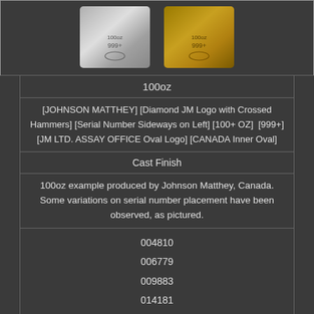[Figure (photo): Two silver/gold 100oz Johnson Matthey bars side by side, one silver-colored and one gold-colored, each showing stamped markings including 100oz, 999+, and an oval logo]
100oz
[JOHNSON MATTHEY] [Diamond JM Logo with Crossed Hammers] [Serial Number Sideways on Left] [100+ OZ]  [999+] [JM LTD. ASSAY OFFICE Oval Logo] [CANADA Inner Oval]
Cast Finish
100oz example produced by Johnson Matthey, Canada. Some variations on serial number placement have been observed, as pictured.
004810
006779
009883
014181
A1469